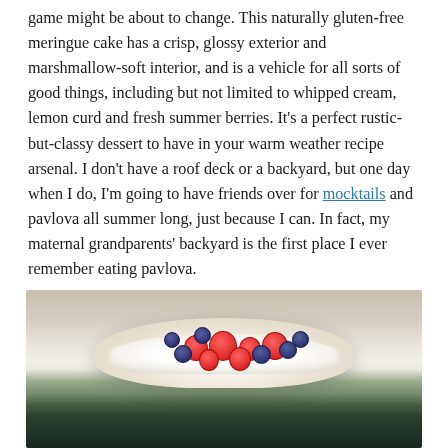game might be about to change. This naturally gluten-free meringue cake has a crisp, glossy exterior and marshmallow-soft interior, and is a vehicle for all sorts of good things, including but not limited to whipped cream, lemon curd and fresh summer berries. It’s a perfect rustic-but-classy dessert to have in your warm weather recipe arsenal. I don’t have a roof deck or a backyard, but one day when I do, I’m going to have friends over for mocktails and pavlova all summer long, just because I can. In fact, my maternal grandparents’ backyard is the first place I ever remember eating pavlova.
[Figure (photo): A pavlova meringue cake topped with whipped cream, fresh strawberries and blueberries, photographed on a light background.]